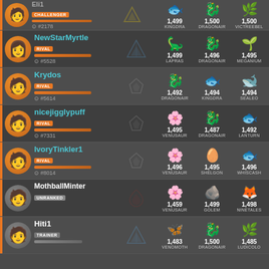CHALLENGER #2178 | KINGDRA 1,499 | DRAGONAIR 1,500 | VICTREEBEL 1,500
NewStarMyrtle | RIVAL | #5528 | LAPRAS 1,499 | DRAGONAIR 1,496 | MEGANIUM 1,495
Krydos | RIVAL | #5614 | DRAGONAIR 1,492 | KINGDRA 1,494 | SEALEO 1,494
nicejigglypuff | RIVAL | #7331 | VENUSAUR 1,495 | DRAGONAIR 1,487 | LANTURN 1,492
IvoryTinkler1 | RIVAL | #8014 | VENUSAUR 1,496 | SHELGON 1,495 | WHISCASH 1,496
MothballMinter | UNRANKED | VENUSAUR 1,459 | GOLEM 1,499 | NINETALES 1,498
Hiti1 | TRAINER | VENOMOTH 1,483 | DRAGONAIR 1,500 | LUDICOLO 1,485